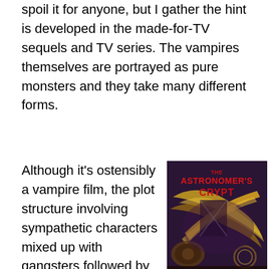spoil it for anyone, but I gather the hint is developed in the made-for-TV sequels and TV series. The vampires themselves are portrayed as pure monsters and they take many different forms.
Although it's ostensibly a vampire film, the plot structure involving sympathetic characters mixed up with gangsters followed by a frightening second act reminded me most of my novel The Astronomer's Crypt, which is also set in the borderland region. You can learn more about that novel at:
[Figure (illustration): Book cover of 'The Astronomer's Crypt' by David Lee Summers, featuring dramatic sci-fi/horror artwork with golden mechanical elements, a dark atmospheric background, and red title text at the top.]